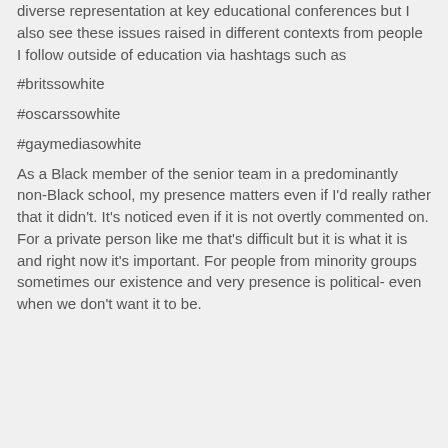diverse representation at key educational conferences but I also see these issues raised in different contexts from people I follow outside of education via hashtags such as
#britssowhite
#oscarssowhite
#gaymediasowhite
As a Black member of the senior team in a predominantly non-Black school, my presence matters even if I'd really rather that it didn't. It's noticed even if it is not overtly commented on. For a private person like me that's difficult but it is what it is and right now it's important. For people from minority groups sometimes our existence and very presence is political- even when we don't want it to be.